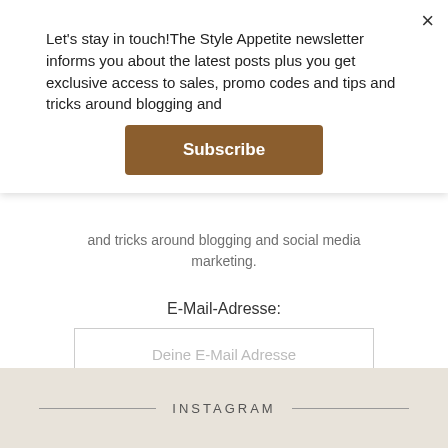Let's stay in touch!The Style Appetite newsletter informs you about the latest posts plus you get exclusive access to sales, promo codes and tips and tricks around blogging and
Subscribe
and tricks around blogging and social media marketing.
E-Mail-Adresse:
Deine E-Mail Adresse
REGISTRIEREN
INSTAGRAM